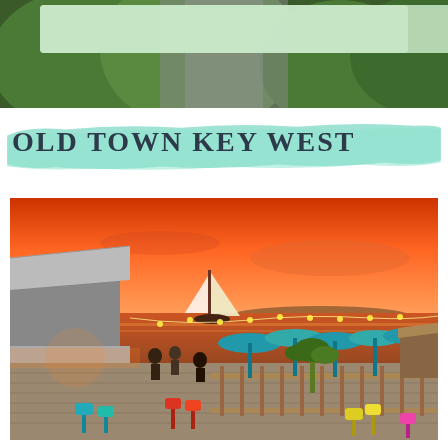[Figure (photo): Top portion of a previous page showing green foliage/trees with a light colored rectangular element visible at the top]
OLD TOWN KEY WEST
[Figure (photo): Aerial/elevated view of an outdoor waterfront bar and restaurant area at sunset in Key West. Orange-red sky with a sailboat on the water. Colorful teal patio umbrellas, string lights, and brightly colored stools (teal, red, yellow, pink) on a wooden deck. People dining and walking around.]